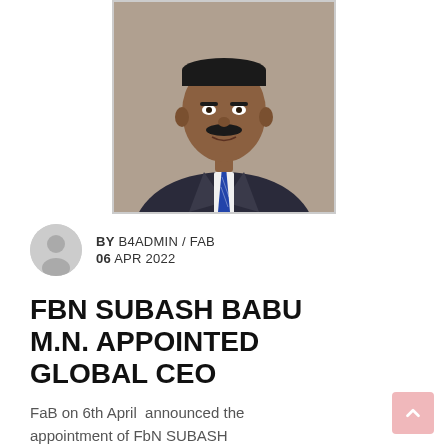[Figure (photo): Portrait photo of a man in a dark suit with a blue patterned tie and white shirt, formal ID-style photograph against a beige/grey background, displayed in a white-bordered frame]
BY B4ADMIN / FAB
06 APR 2022
FBN SUBASH BABU M.N. APPOINTED GLOBAL CEO
FaB on 6th April  announced the appointment of FbN SUBASH BABU M.N.  as CEO of FaB